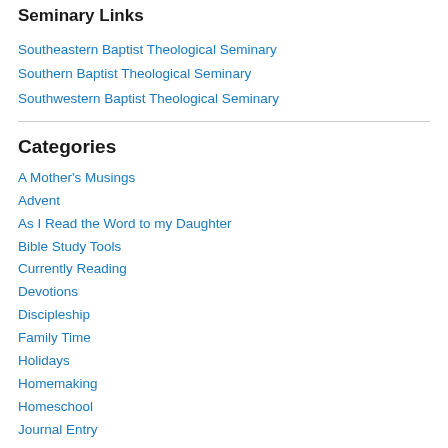Seminary Links
Southeastern Baptist Theological Seminary
Southern Baptist Theological Seminary
Southwestern Baptist Theological Seminary
Categories
A Mother's Musings
Advent
As I Read the Word to my Daughter
Bible Study Tools
Currently Reading
Devotions
Discipleship
Family Time
Holidays
Homemaking
Homeschool
Journal Entry